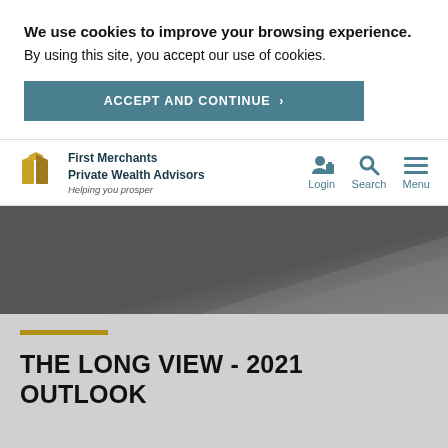We use cookies to improve your browsing experience. By using this site, you accept our use of cookies.
ACCEPT AND CONTINUE  >
[Figure (logo): First Merchants Private Wealth Advisors logo with golden building icon and tagline Helping you prosper]
Login  Search  Menu
[Figure (photo): Dark gray hero banner background with diagonal gradient]
THE LONG VIEW - 2021 OUTLOOK